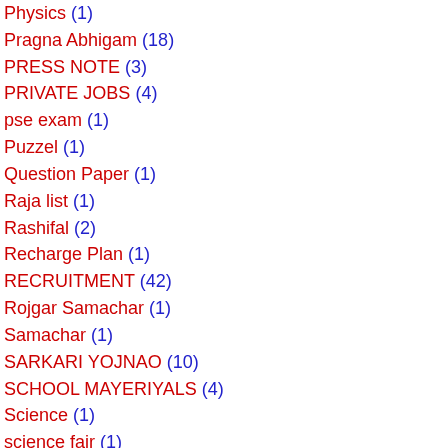Physics (1)
Pragna Abhigam (18)
PRESS NOTE (3)
PRIVATE JOBS (4)
pse exam (1)
Puzzel (1)
Question Paper (1)
Raja list (1)
Rashifal (2)
Recharge Plan (1)
RECRUITMENT (42)
Rojgar Samachar (1)
Samachar (1)
SARKARI YOJNAO (10)
SCHOOL MAYERIYALS (4)
Science (1)
science fair (1)
sdp form (1)
Shikshak Jyot (1)